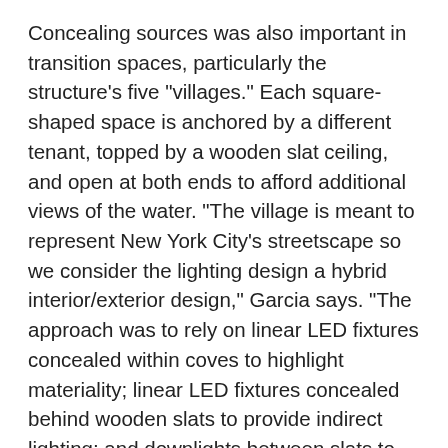Concealing sources was also important in transition spaces, particularly the structure's five "villages." Each square-shaped space is anchored by a different tenant, topped by a wooden slat ceiling, and open at both ends to afford additional views of the water. "The village is meant to represent New York City's streetscape so we consider the lighting design a hybrid interior/exterior design," Garcia says. "The approach was to rely on linear LED fixtures concealed within coves to highlight materiality; linear LED fixtures concealed behind wooden slats to provide indirect lighting; and downlights between slats to provide additional lighting as needed. As a result, we could maintain views of the Brooklyn Bridge, which was a priority for the architect."
In interior spaces, linear LED fixtures concealed in coves deliver warm ambient light, while LED spots and track heads